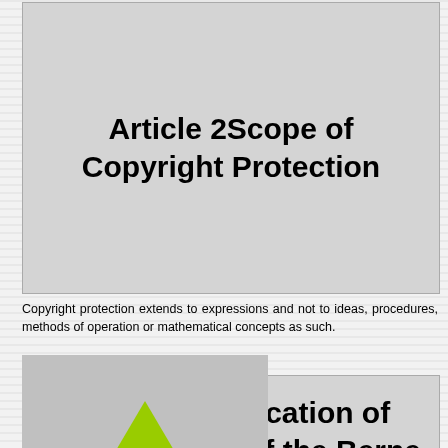Article 2Scope of Copyright Protection
Copyright protection extends to expressions and not to ideas, procedures, methods of operation or mathematical concepts as such.
[Figure (other): Back to top button with green upward-pointing arrow and text 'BACK TO TOP']
Article 3Application of Articles 2 to 6 of the Berne Convention
Contracting Parties shall apply mutatis mutandis the provisions of Articles 2 to 6 of the Berne Convention in respect of the protection provided for in this Treaty.²